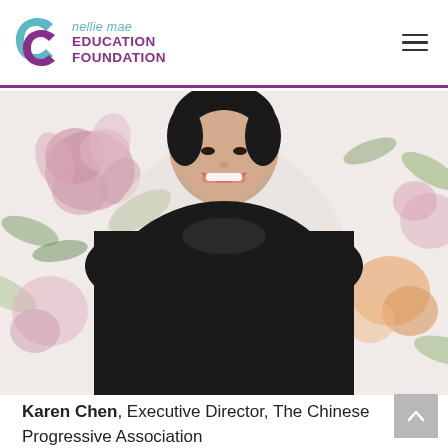nellie mae EDUCATION FOUNDATION
[Figure (photo): Portrait photo of Karen Chen smiling, wearing a black sweater, against a floral wallpaper background]
Karen Chen, Executive Director, The Chinese Progressive Association